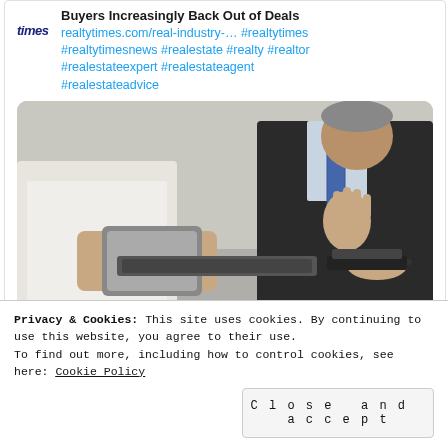[Figure (logo): Realty Times logo — bold italic 'times' text in blue/navy]
Buyers Increasingly Back Out of Deals
realtytimes.com/real-industry-… #realtytimes #realtytimesnews #realestate #realty #realtor #realestateexpert #realestateagent #realestateadvice
[Figure (photo): Two people at a desk; one in a white shirt holds a tablet, the other in a dark suit raises a hand as if stopping or declining something. Books and a notebook on the desk.]
Privacy & Cookies: This site uses cookies. By continuing to use this website, you agree to their use.
To find out more, including how to control cookies, see here: Cookie Policy
Close and accept